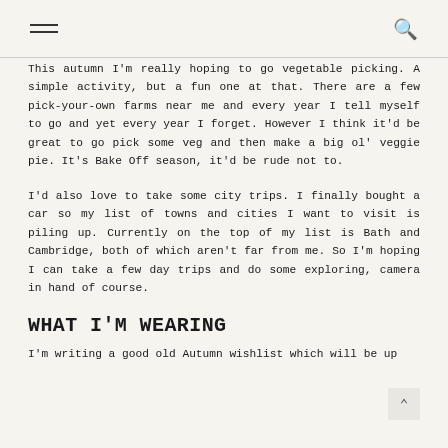This autumn I'm really hoping to go vegetable picking. A simple activity, but a fun one at that. There are a few pick-your-own farms near me and every year I tell myself to go and yet every year I forget. However I think it'd be great to go pick some veg and then make a big ol' veggie pie. It's Bake Off season, it'd be rude not to.
I'd also love to take some city trips. I finally bought a car so my list of towns and cities I want to visit is piling up. Currently on the top of my list is Bath and Cambridge, both of which aren't far from me. So I'm hoping I can take a few day trips and do some exploring, camera in hand of course.
WHAT I'M WEARING
I'm writing a good old Autumn wishlist which will be up